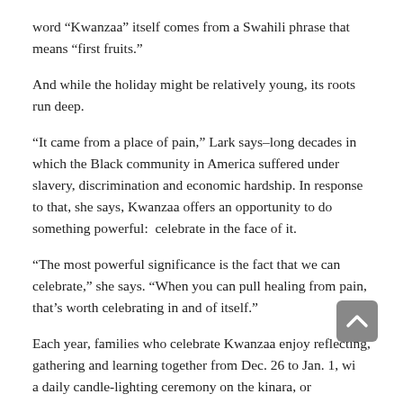word “Kwanzaa” itself comes from a Swahili phrase that means “first fruits.”
And while the holiday might be relatively young, its roots run deep.
“It came from a place of pain,” Lark says–long decades in which the Black community in America suffered under slavery, discrimination and economic hardship. In response to that, she says, Kwanzaa offers an opportunity to do something powerful:  celebrate in the face of it.
“The most powerful significance is the fact that we can celebrate,” she says. “When you can pull healing from pain, that’s worth celebrating in and of itself.”
Each year, families who celebrate Kwanzaa enjoy reflecting, gathering and learning together from Dec. 26 to Jan. 1, with a daily candle-lighting ceremony on the kinara, or